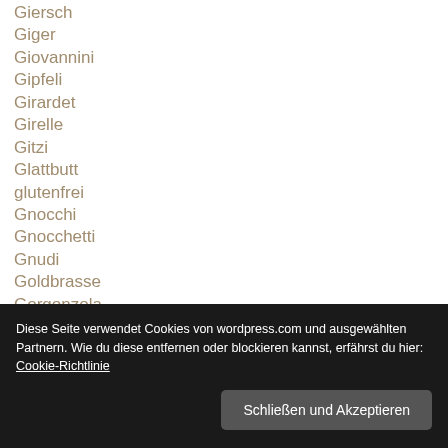Giersch
Giger
Giovannini
Gipfeli
Girardet
Girelle
Gitzi
Glattbutt
glutenfrei
Gnocchi
Gnocchetti
Gnudi
Goldbrasse
Gorgonzola
Granatapfel
Grandits
Granità
Grapefruit
G…
G…
G…
G…
G…
G…
G…
Grissini
Diese Seite verwendet Cookies von wordpress.com und ausgewählten Partnern. Wie du diese entfernen oder blockieren kannst, erfährst du hier: Cookie-Richtlinie
Schließen und Akzeptieren